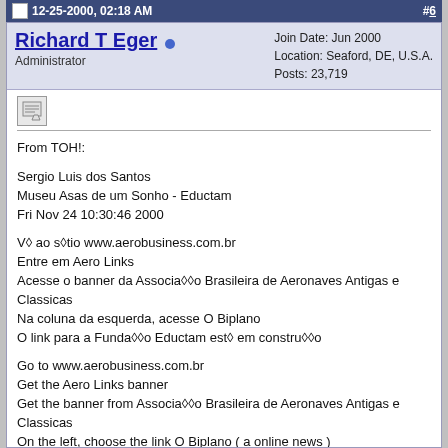12-25-2000, 02:18 AM  #6
Richard T Eger [online] Administrator | Join Date: Jun 2000 | Location: Seaford, DE, U.S.A. | Posts: 23,719
From TOH!:

Sergio Luis dos Santos
Museu Asas de um Sonho - Eductam
Fri Nov 24 10:30:46 2000

V◆ ao s◆tio www.aerobusiness.com.br
Entre em Aero Links
Acesse o banner da Associa◆◆o Brasileira de Aeronaves Antigas e Classicas
Na coluna da esquerda, acesse O Biplano
O link para a Funda◆◆o Eductam est◆ em constru◆◆o

Go to www.aerobusiness.com.br
Get the Aero Links banner
Get the banner from Associa◆◆o Brasileira de Aeronaves Antigas e Classicas
On the left, choose the link O Biplano ( a online news )
The link from TAM◆s Museum, Funda◆◆o Eductam is under construction. They also got a Focke-Wulf Fw-44 from Argentina brought in flight.